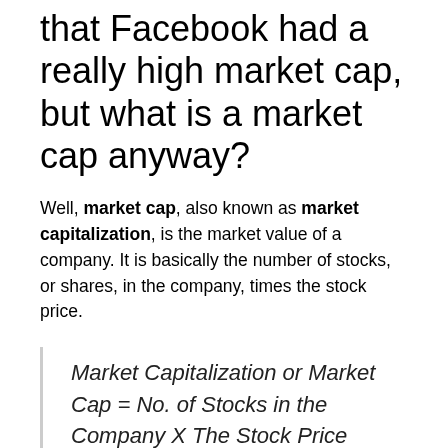that Facebook had a really high market cap, but what is a market cap anyway?
Well, market cap, also known as market capitalization, is the market value of a company. It is basically the number of stocks, or shares, in the company, times the stock price.
Market Capitalization or Market Cap = No. of Stocks in the Company X The Stock Price
So for example, if there are 1,000 shares in a company and each share is $100, then the market